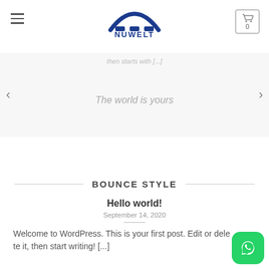[Figure (logo): NUWELT logo with blue arc and blue blocks above the text NUWELT]
then starts with [...]
The world is yours
BOUNCE STYLE
Hello world!
September 14, 2020
Welcome to WordPress. This is your first post. Edit or delete it, then start writing! [...]